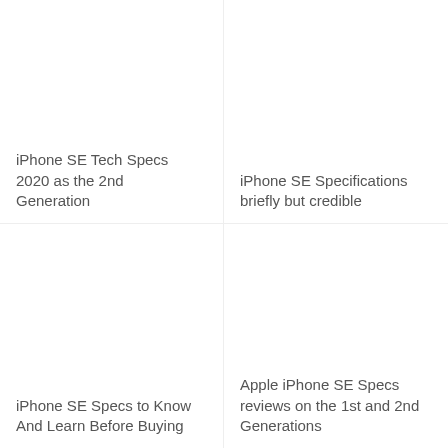iPhone SE Tech Specs 2020 as the 2nd Generation
iPhone SE Specifications briefly but credible
iPhone SE Specs to Know And Learn Before Buying
Apple iPhone SE Specs reviews on the 1st and 2nd Generations